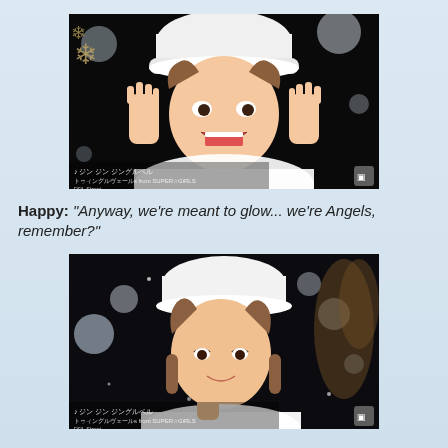[Figure (screenshot): Video screenshot of a young woman in a white fluffy hat with hands raised near her face, mouth open in excitement, against a dark background with snowflakes and bokeh lights. Japanese text overlay visible at bottom left.]
Happy: "Anyway, we're meant to glow... we're Angels, remember?"
[Figure (screenshot): Video screenshot of a young woman in a white fluffy hat smiling gently with one hand near her chin, against a dark background with snowflakes and bokeh lights. Japanese text overlay visible at bottom left.]